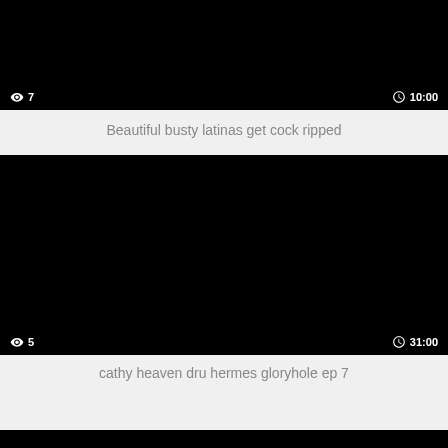[Figure (screenshot): Black video thumbnail with view count '7' on bottom left and duration '10:00' on bottom right]
Beautiful busty latinas get cock ripped
[Figure (screenshot): Black video thumbnail with view count '5' on bottom left and duration '31:00' on bottom right]
cathy heaven dru hermes gloryhole ep 7
[Figure (screenshot): Partially visible video thumbnail at bottom of page]